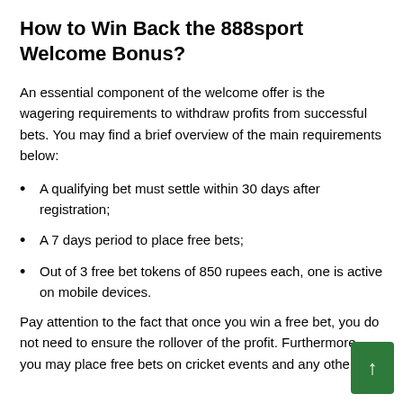How to Win Back the 888sport Welcome Bonus?
An essential component of the welcome offer is the wagering requirements to withdraw profits from successful bets. You may find a brief overview of the main requirements below:
A qualifying bet must settle within 30 days after registration;
A 7 days period to place free bets;
Out of 3 free bet tokens of 850 rupees each, one is active on mobile devices.
Pay attention to the fact that once you win a free bet, you do not need to ensure the rollover of the profit. Furthermore, you may place free bets on cricket events and any other